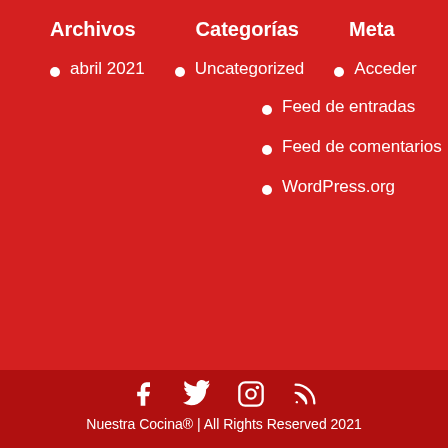Archivos  Categorías  Meta
abril 2021
Uncategorized
Acceder
Feed de entradas
Feed de comentarios
WordPress.org
Nuestra Cocina® | All Rights Reserved 2021